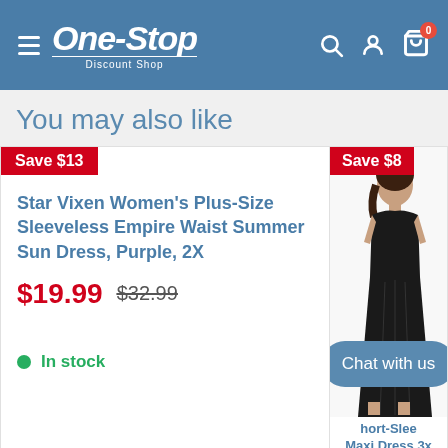[Figure (logo): One-Stop Discount Shop logo in white on blue header background]
You may also like
Save $13
Star Vixen Women's Plus-Size Sleeveless Empire Waist Summer Sun Dress, Purple, 2X
$19.99  $32.99
In stock
Save $8
[Figure (photo): Woman wearing a black short-sleeve maxi dress]
Chat with us
hort-Slee Maxi Dress 3x